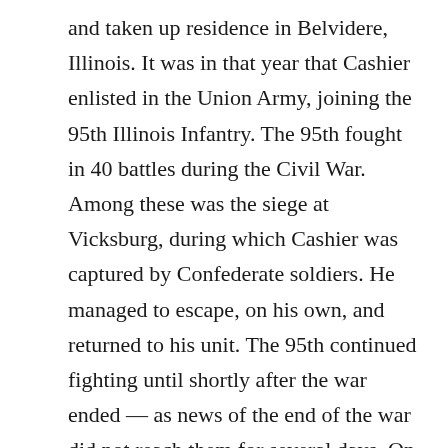and taken up residence in Belvidere, Illinois. It was in that year that Cashier enlisted in the Union Army, joining the 95th Illinois Infantry. The 95th fought in 40 battles during the Civil War. Among these was the siege at Vicksburg, during which Cashier was captured by Confederate soldiers. He managed to escape, on his own, and returned to his unit. The 95th continued fighting until shortly after the war ended — as news of the end of the war did not reach them for several days. On August 17, 1865 the regiment was disbanded and Cashier was honorably discharged. Cashier had managed to survive the Civil War, and did so without suffering any severe enough injuries that anyone discovered he was biologically female. Cashier had earned a reputation for running headlong into danger